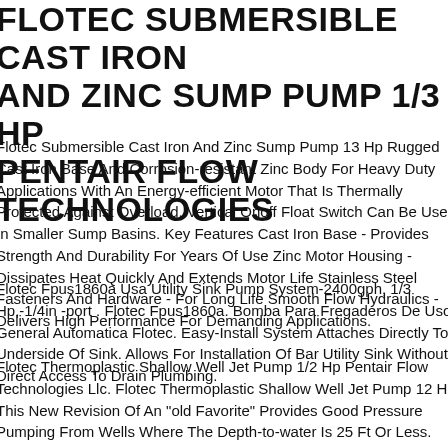FLOTEC SUBMERSIBLE CAST IRON AND ZINC SUMP PUMP 1/3 HP PENTAIR FLOW TECHNOLOGIES
Flotec Submersible Cast Iron And Zinc Sump Pump 13 Hp Rugged Cast Iron Base And Corrosion-resistant Zinc Body For Heavy Duty Applications With An Energy-efficient Motor That Is Thermally Protected Against Overload. Vertical Onoff Float Switch Can Be Used In Smaller Sump Basins. Key Features Cast Iron Base - Provides Strength And Durability For Years Of Use Zinc Motor Housing - Dissipates Heat Quickly And Extends Motor Life Stainless Steel Fasteners And Hardware - For Long Life Smooth Flow Hydraulics - Delivers High Performance For Demanding Applications.
Flotec Fpus1860a Usa Utility Sink Pump System-2400gph, 1/3 Hp,-1/4in -port . Flotec Fpus1860a. Bomba Para Fregaderos De Uso General Automatica Flotec. Easy-Install System Attaches Directly To Underside Of Sink. Allows For Installation Of Bar Utility Sink Without Direct Access To Drain Plumbing.
Flotec Thermoplastic Shallow Well Jet Pump 1/2 Hp Pentair Flow Technologies Llc. Flotec Thermoplastic Shallow Well Jet Pump 12 Hp This New Revision Of An "old Favorite" Provides Good Pressure Pumping From Wells Where The Depth-to-water Is 25 Ft Or Less. Key Features Perfect For Shallow Wells (depth-to-water Less Than 25') Thermoplastic Construction For Higher Corrosion Resistance) 1-14" Suction 1" (discharge) Comes With Pre-wired 3050 Pressure Switch.